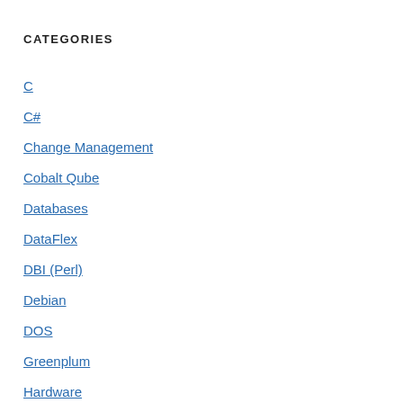CATEGORIES
C
C#
Change Management
Cobalt Qube
Databases
DataFlex
DBI (Perl)
Debian
DOS
Greenplum
Hardware
Ingres
Logical Decoding
Networking
npgsql (C#)
Oracle